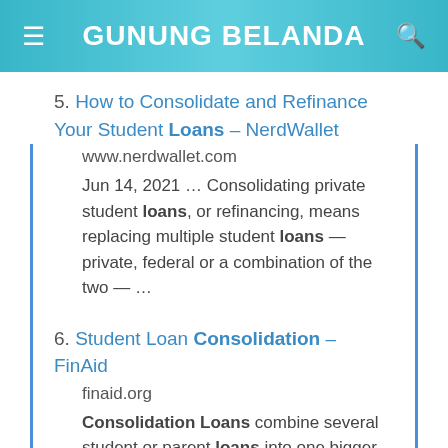GUNUNG BELANDA
5. How to Consolidate and Refinance Your Student Loans – NerdWallet
www.nerdwallet.com
Jun 14, 2021 … Consolidating private student loans, or refinancing, means replacing multiple student loans — private, federal or a combination of the two — …
6. Student Loan Consolidation – FinAid
finaid.org
Consolidation Loans combine several student or parent loans into one bigger loan from a single lender, which is then used to pay off the balances on the …